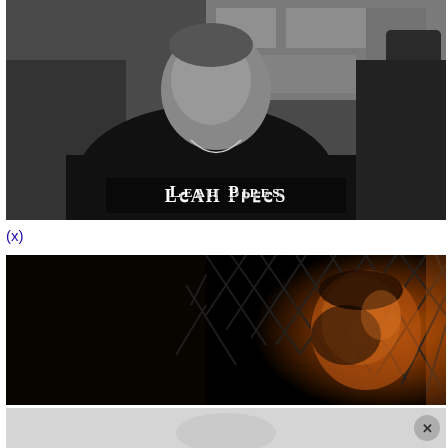[Figure (photo): Black and white photo of a muscular man in a sleeveless black shirt, looking downward, inside what appears to be a gym with bulletin boards in the background. White text overlay reads 'Leah Pipes' in a serif small-caps style font.]
(x)
[Figure (photo): Dark, amber-toned photo of a man's face partially visible through chain-link fence, lit with warm orange light.]
[Figure (photo): Partially visible third image below, greyed out, with a circular close/X button in the bottom right corner.]